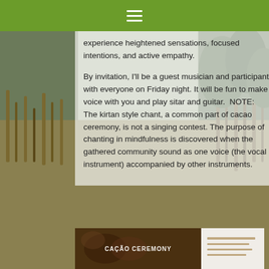☰
experience heightened sensations, focused intentions, and active empathy.
By invitation, I'll be a guest musician and participant with everyone on Friday night. It will be fun to make voice with you and play sitar and guitar.  NOTE: The kirtan style chant, a common part of cacao ceremony, is not a singing contest. The purpose of chanting in mindfulness is discovered when the gathered community sound as one voice (the vocal instrument) accompanied by other instruments.
[Figure (photo): Bottom strip showing a CACAO CEREMONY image banner]